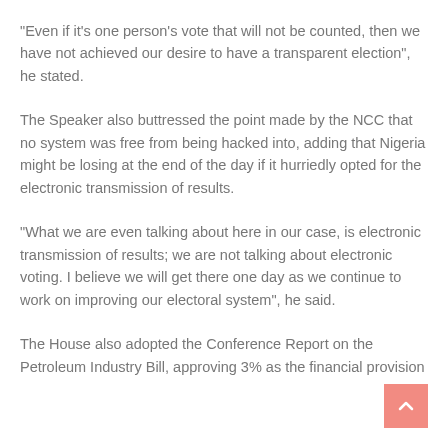"Even if it's one person's vote that will not be counted, then we have not achieved our desire to have a transparent election", he stated.
The Speaker also buttressed the point made by the NCC that no system was free from being hacked into, adding that Nigeria might be losing at the end of the day if it hurriedly opted for the electronic transmission of results.
"What we are even talking about here in our case, is electronic transmission of results; we are not talking about electronic voting. I believe we will get there one day as we continue to work on improving our electoral system", he said.
The House also adopted the Conference Report on the Petroleum Industry Bill, approving 3% as the financial provision